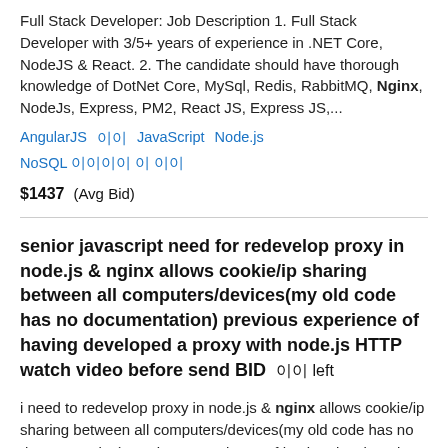Full Stack Developer: Job Description 1. Full Stack Developer with 3/5+ years of experience in .NET Core, NodeJS & React. 2. The candidate should have thorough knowledge of DotNet Core, MySql, Redis, RabbitMQ, Nginx, NodeJs, Express, PM2, React JS, Express JS,...
AngularJS  이이  JavaScript  Node.js  NoSQL 이이이이 이 이이
$1437  (Avg Bid)
senior javascript need for redevelop proxy in node.js & nginx allows cookie/ip sharing between all computers/devices(my old code has no documentation) previous experience of having developed a proxy with node.js HTTP watch video before send BID  이이 left
i need to redevelop proxy in node.js & nginx allows cookie/ip sharing between all computers/devices(my old code has no documentation) previous experience of having developed a proxy with node.js EXPLANATION